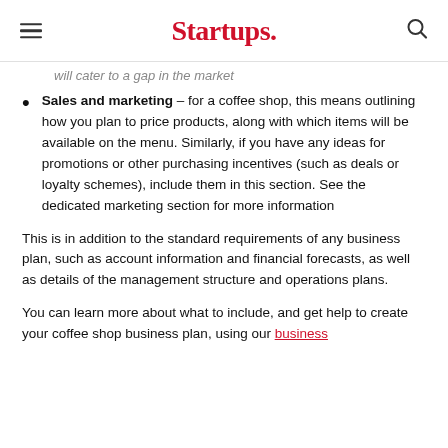Startups.
will cater to a gap in the market
Sales and marketing – for a coffee shop, this means outlining how you plan to price products, along with which items will be available on the menu. Similarly, if you have any ideas for promotions or other purchasing incentives (such as deals or loyalty schemes), include them in this section. See the dedicated marketing section for more information
This is in addition to the standard requirements of any business plan, such as account information and financial forecasts, as well as details of the management structure and operations plans.
You can learn more about what to include, and get help to create your coffee shop business plan, using our business